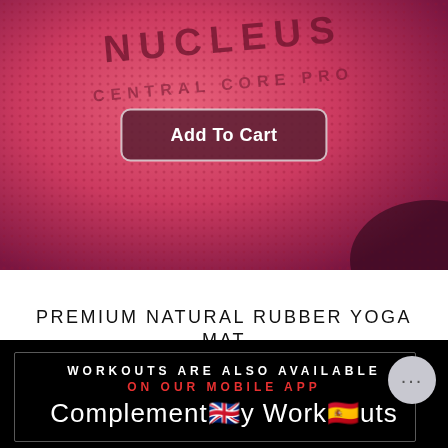[Figure (photo): Close-up photo of a pink/magenta textured yoga mat with 'NUCLEUS CENTRAL CORE PRO' branding embossed on it, with an 'Add To Cart' button overlaid on top]
PREMIUM NATURAL RUBBER YOGA MAT
$34.99 $25.90
WORKOUTS ARE ALSO AVAILABLE
ON OUR MOBILE APP
Complimentary Workouts